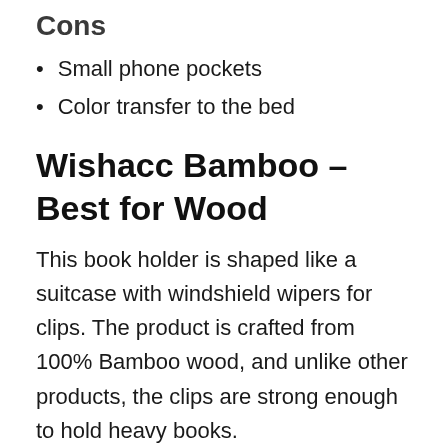Cons
Small phone pockets
Color transfer to the bed
Wishacc Bamboo – Best for Wood
This book holder is shaped like a suitcase with windshield wipers for clips. The product is crafted from 100% Bamboo wood, and unlike other products, the clips are strong enough to hold heavy books.
The Wishacc book holder is devoid of irritants and has rounded edges to reduce injury risk. The panels are cleanable with a cloth, and